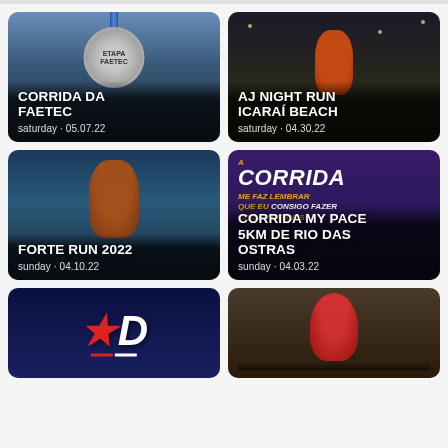[Figure (photo): Running medal with FAETEC branding on ribbon, outdoor dark background]
CORRIDA DA FAETEC
saturday - 05.07.22
[Figure (photo): Woman in orange running shirt at night on beach, making peace sign]
AJ NIGHT RUN ICARAÍ BEACH
saturday - 04.30.22
[Figure (photo): Man with orange cap and sunglasses, outdoor running event]
FORTE RUN 2022
sunday - 04.10.22
[Figure (photo): Purple promotional graphic with text A CORRIDA ME FAZ LEMBRAR QUE EU CONSIGO FAZER COISAS DIFÍCEIS for Corrida My Pace 5km de Rio das Ostras]
CORRIDA MY PACE 5KM DE RIO DAS OSTRAS
sunday - 04.03.22
[Figure (logo): Dark blue background with stylized letter D logo and stars/stripes]
[Figure (photo): Person in red cap doing trail run or triathlon over rocky terrain]